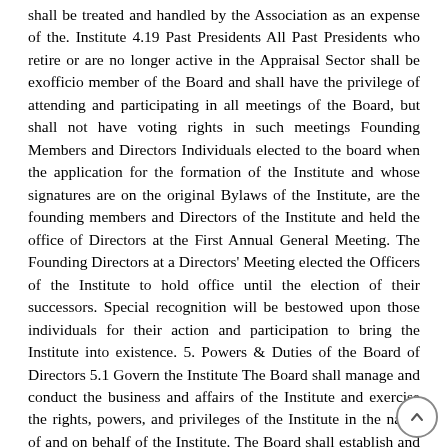shall be treated and handled by the Association as an expense of the. Institute 4.19 Past Presidents All Past Presidents who retire or are no longer active in the Appraisal Sector shall be exofficio member of the Board and shall have the privilege of attending and participating in all meetings of the Board, but shall not have voting rights in such meetings Founding Members and Directors Individuals elected to the board when the application for the formation of the Institute and whose signatures are on the original Bylaws of the Institute, are the founding members and Directors of the Institute and held the office of Directors at the First Annual General Meeting. The Founding Directors at a Directors' Meeting elected the Officers of the Institute to hold office until the election of their successors. Special recognition will be bestowed upon those individuals for their action and participation to bring the Institute into existence. 5. Powers & Duties of the Board of Directors 5.1 Govern the Institute The Board shall manage and conduct the business and affairs of the Institute and exercise the rights, powers, and privileges of the Institute in the name of and on behalf of the Institute. The Board shall establish and revise policy, carry out the activities and affairs of the Institute, and take such action